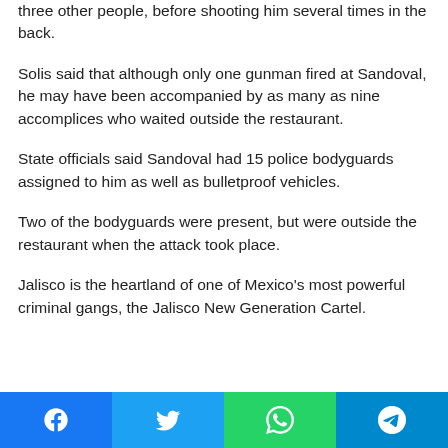three other people, before shooting him several times in the back.
Solis said that although only one gunman fired at Sandoval, he may have been accompanied by as many as nine accomplices who waited outside the restaurant.
State officials said Sandoval had 15 police bodyguards assigned to him as well as bulletproof vehicles.
Two of the bodyguards were present, but were outside the restaurant when the attack took place.
Jalisco is the heartland of one of Mexico's most powerful criminal gangs, the Jalisco New Generation Cartel.
Social share bar: Facebook, Twitter, WhatsApp, Telegram